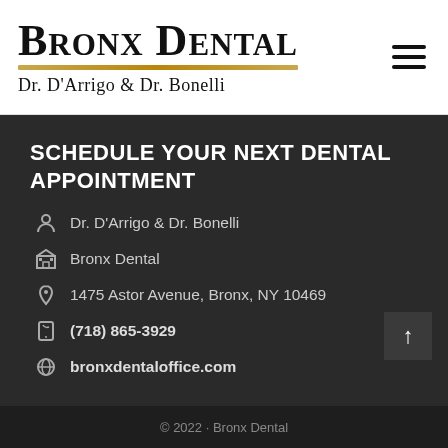[Figure (logo): Bronx Dental logo with serif bold text and gold underline, with Dr. D'Arrigo & Dr. Bonelli subtitle]
SCHEDULE YOUR NEXT DENTAL APPOINTMENT
Dr. D'Arrigo & Dr. Bonelli
Bronx Dental
1475 Astor Avenue, Bronx, NY 10469
(718) 865-3929
bronxdentaloffice.com
© 2022 · Bronx Dental